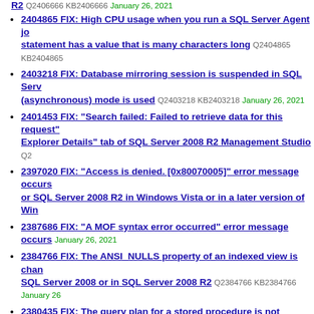R2 Q2406666 KB2406666 January 26, 2021
2404865 FIX: High CPU usage when you run a SQL Server Agent job statement has a value that is many characters long Q2404865 KB2404865
2403218 FIX: Database mirroring session is suspended in SQL Server (asynchronous) mode is used Q2403218 KB2403218 January 26, 2021
2401453 FIX: "Search failed: Failed to retrieve data for this request" Explorer Details" tab of SQL Server 2008 R2 Management Studio Q2...
2397020 FIX: "Access is denied. [0x80070005]" error message occurs or SQL Server 2008 R2 in Windows Vista or in a later version of Win
2387686 FIX: "A MOF syntax error occurred" error message occurs January 26, 2021
2384766 FIX: The ANSI_NULLS property of an indexed view is changed SQL Server 2008 or in SQL Server 2008 R2 Q2384766 KB2384766 January 26
2380435 FIX: The query plan for a stored procedure is not cached if function in Microsoft SQL Server 2008 or in Microsoft SQL Server 2
2380361 FIX: Error message when you run the "sp_createstats" stored nondeterministic computed column Q2380361 KB2380361 January 26, 2021
2379466 FIX: "0x84B10001" error code, SQL Server 2008 or SQL Server Server 2008 or SQL Server 2008 R2 Setup Q2379466 KB2379466 January 26,
2359606 FIX: "System.OverflowException: Value was either too large in Microsoft SQL Server 2008 R2 Reporting Services Q2359606 KB23596
2357947 FIX: Incorrect order of the characters and numbers when you characters Q2357947 KB2357947 January 26, 2021
2352413 FIX: Query failure and an "Invalid column name" error message 2008 or SQL Server 2008 R2 Q2352413 KB2352413 January 26, 2021